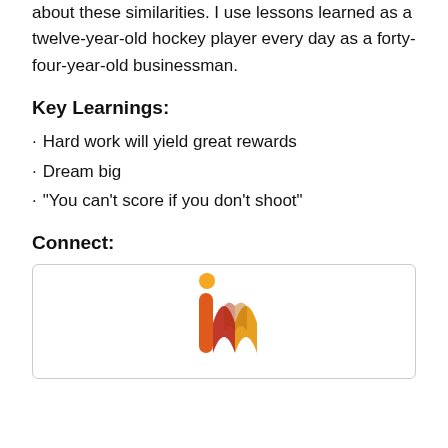about these similarities. I use lessons learned as a twelve-year-old hockey player every day as a forty-four-year-old businessman.
Key Learnings:
Hard work will yield great rewards
Dream big
"You can't score if you don't shoot"
Connect:
[Figure (logo): iM logo — stylized letter 'm' in orange, red, and gold tones with an orange circle dot above, inside a rounded rectangle border]